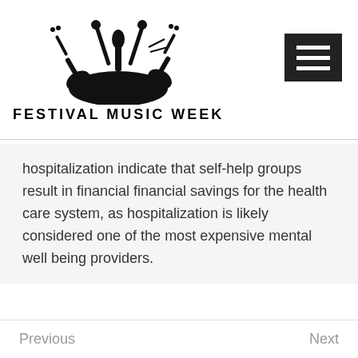[Figure (logo): Festival Music Week logo with silhouette of musical instruments (guitars, microphone, drumsticks, cymbals) rising above a semicircle, with text 'FESTIVAL MUSIC WEEK' below in bold uppercase letters]
hospitalization indicate that self-help groups result in financial financial savings for the health care system, as hospitalization is likely considered one of the most expensive mental well being providers.
Previous    Next